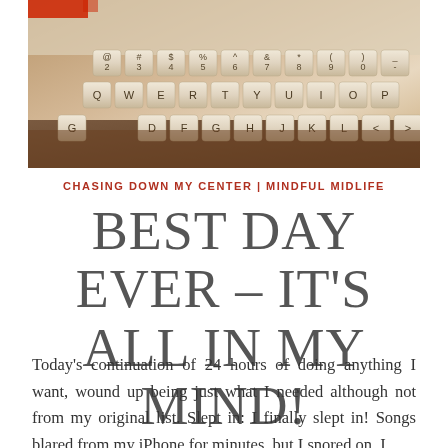[Figure (photo): Close-up photograph of an Apple keyboard showing keys including letters Q W E R T Y U I O P, numbers 2 3 4 5 6 7 8 9 0, and other keys, with warm sepia/vintage toning. Partial red logo visible at top left.]
CHASING DOWN MY CENTER | MINDFUL MIDLIFE
BEST DAY EVER – IT'S ALL IN MY MIND!
Today's continuation of 24 hours of doing anything I want, wound up being just what I needed although not from my original list. Slept in: I finally slept in! Songs blared from my iPhone for minutes, but I snored on. I